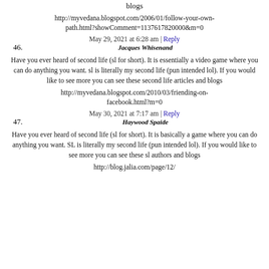blogs
http://myvedana.blogspot.com/2006/01/follow-your-own-path.html?showComment=113761782000​0&m=0
May 29, 2021 at 6:28 am | Reply
46. Jacques Whisenand
Have you ever heard of second life (sl for short). It is essentially a video game where you can do anything you want. sl is literally my second life (pun intended lol). If you would like to see more you can see these second life articles and blogs
http://myvedana.blogspot.com/2010/03/friending-on-facebook.html?m=0
May 30, 2021 at 7:17 am | Reply
47. Haywood Spaide
Have you ever heard of second life (sl for short). It is basically a game where you can do anything you want. SL is literally my second life (pun intended lol). If you would like to see more you can see these sl authors and blogs
http://blog.jalia.com/page/12/